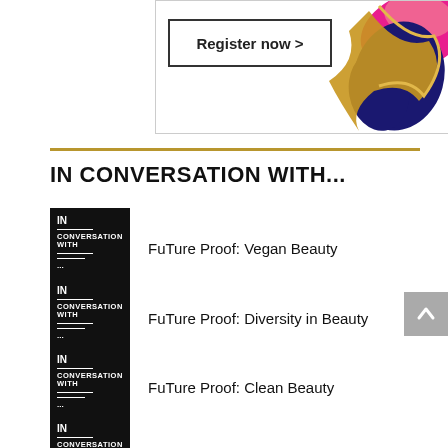[Figure (illustration): Register now button with decorative pink, gold and navy abstract paint splash on white background banner]
FuTure Proof: Vegan Beauty
FuTure Proof: Diversity in Beauty
FuTure Proof: Clean Beauty
FuTure Proof: Professional Beauty